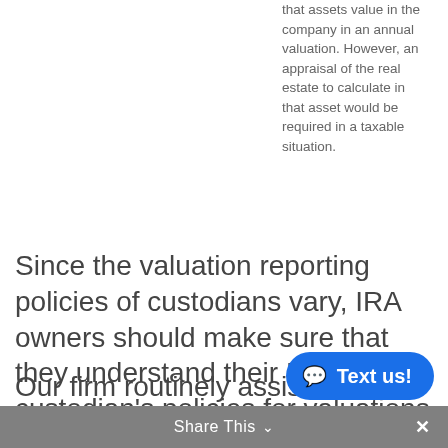that assets value in the company in an annual valuation. However, an appraisal of the real estate to calculate in that asset would be required in a taxable situation.
Since the valuation reporting policies of custodians vary, IRA owners should make sure that they understand their IRA custodian's policies for valuations for the assets in question.
Our firm routinely assists clients with
Share This